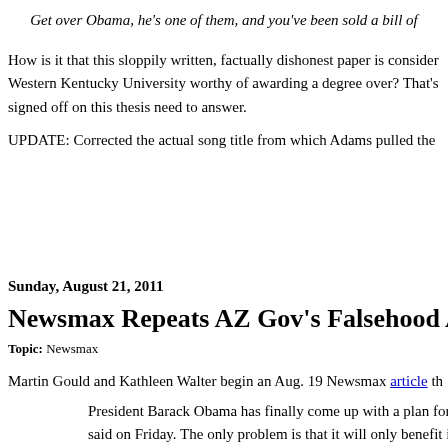Get over Obama, he's one of them, and you've been sold a bill of
How is it that this sloppily written, factually dishonest paper is consider Western Kentucky University worthy of awarding a degree over? That's signed off on this thesis need to answer.
UPDATE: Corrected the actual song title from which Adams pulled the
Sunday, August 21, 2011
Newsmax Repeats AZ Gov's Falsehood Abou
Topic: Newsmax
Martin Gould and Kathleen Walter begin an Aug. 19 Newsmax article th
President Barack Obama has finally come up with a plan for jobs said on Friday. The only problem is that it will only benefit illega